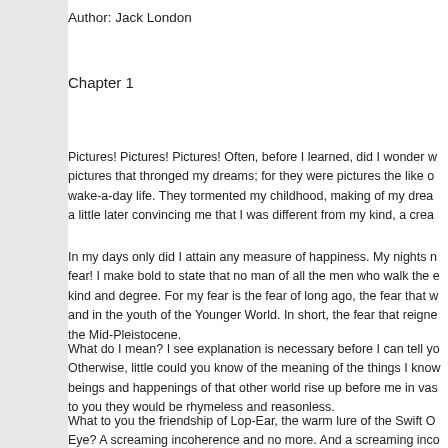Author: Jack London
Chapter 1
Pictures! Pictures! Pictures! Often, before I learned, did I wonder w pictures that thronged my dreams; for they were pictures the like o wake-a-day life. They tormented my childhood, making of my drea a little later convincing me that I was different from my kind, a crea
In my days only did I attain any measure of happiness. My nights n fear! I make bold to state that no man of all the men who walk the kind and degree. For my fear is the fear of long ago, the fear that w and in the youth of the Younger World. In short, the fear that reigne the Mid-Pleistocene.
What do I mean? I see explanation is necessary before I can tell yo Otherwise, little could you know of the meaning of the things I know beings and happenings of that other world rise up before me in vas to you they would be rhymeless and reasonless.
What to you the friendship of Lop-Ear, the warm lure of the Swift O Eye? A screaming incoherence and no more. And a screaming inco Fire People and the Tree People, and the gibbering councils of the of the cool caves in the cliffs, the circus of the drinking-places at th felt the bite of the morning wind in the tree-tops, nor is the taste of
It would be better, I dare say, for you to make your approach, as I n As a boy I was very like other boys--in my waking hours. It was in